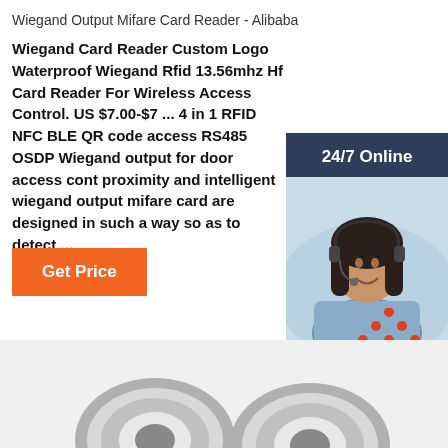Wiegand Output Mifare Card Reader - Alibaba
Wiegand Card Reader Custom Logo Waterproof Wiegand Rfid 13.56mhz Hf Card Reader For Wireless Access Control. US $7.00-$7 ... 4 in 1 RFID NFC BLE QR code access RS485 OSDP Wiegand output for door access control proximity and intelligent wiegand output mifare card are designed in such a way so as to detect ...
[Figure (infographic): Chat widget with woman wearing headset, '24/7 Online' header, 'Click here for free chat!' text, and orange QUOTATION button]
Get Price
[Figure (infographic): TOP button with orange dots arranged in triangle shape above bold red italic TOP text]
[Figure (photo): Two circular RFID card reader products shown at bottom of page]